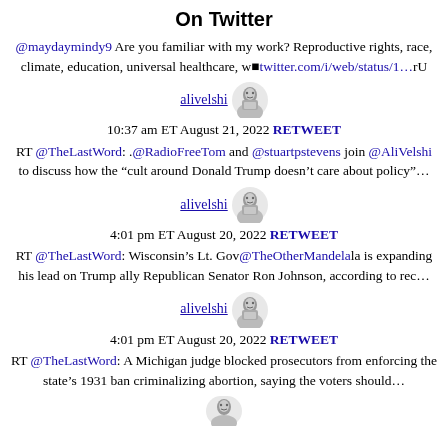On Twitter
@maydaymindy9 Are you familiar with my work? Reproductive rights, race, climate, education, universal healthcare, w■twitter.com/i/web/status/1…rU
alivelshi
10:37 am ET August 21, 2022 RETWEET
RT @TheLastWord: .@RadioFreeTom and @stuartpstevens join @AliVelshi to discuss how the “cult around Donald Trump doesn’t care about policy”…
alivelshi
4:01 pm ET August 20, 2022 RETWEET
RT @TheLastWord: Wisconsin’s Lt. Gov@TheOtherMandelala is expanding his lead on Trump ally Republican Senator Ron Johnson, according to rec…
alivelshi
4:01 pm ET August 20, 2022 RETWEET
RT @TheLastWord: A Michigan judge blocked prosecutors from enforcing the state’s 1931 ban criminalizing abortion, saying the voters should…